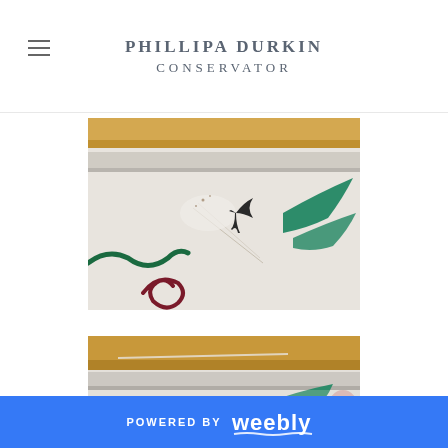PHILLIPA DURKIN CONSERVATOR
[Figure (photo): Close-up photograph of a ceramic crock or pot with white glaze exterior. Decorative painted motifs visible: a dark bird/cross shape, green leaf/floral strokes, dark red/maroon spiral. Cracks and repair lines visible on the surface. Yellowish-orange interior visible at top rim.]
[Figure (photo): Second close-up photograph of the same or similar ceramic crock/pot, showing the top rim and upper body with white glaze, yellowish interior, and partial view of painted decorative motifs including dark and green brushwork.]
POWERED BY weebly